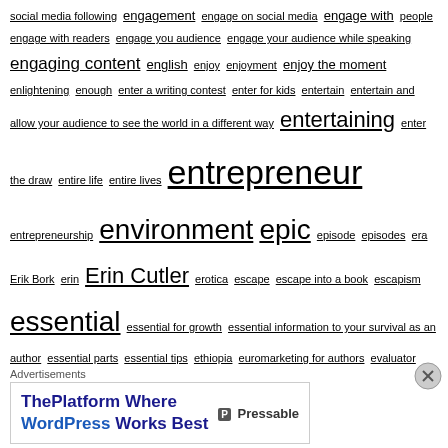social media following engagement engage on social media engage with people engage with readers engage you audience engage your audience while speaking engaging content english enjoy enjoyment enjoy the moment enlightening enough enter a writing contest enter for kids entertain entertain and allow your audience to see the world in a different way entertaining enter the draw entire life entire lives entrepreneur entrepreneurship environment epic episode episodes era Erik Bork erin Erin Cutler erotica escape escape into a book escapism essential essential for growth essential information to your survival as an author essential parts essential tips ethiopia euromarketing for authors evaluator Evanoff event event attendance event education event red flags events events and festivals event schedule every day everyone would do it every parent's worst nightmare everything in between everything is about relationship building everything is energy everything is your fault everything revolves around everything starts from within evil evolution of the female brain example examples excellent advice excellent referenfces excerpt from Unfrogged excerpt of book excerpts excess excessively exchange your writing excited excited about reading exciting position horrific position f...
Advertisements
[Figure (other): Advertisement banner for Pressable: 'ThePlatform Where WordPress Works Best' with Pressable logo on right side]